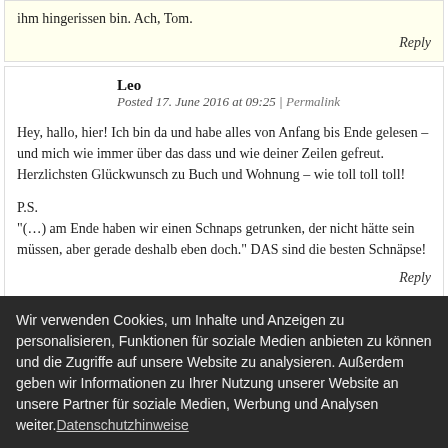ihm hingerissen bin. Ach, Tom.
Reply
Leo
Posted 17. June 2016 at 09:25 | Permalink
Hey, hallo, hier! Ich bin da und habe alles von Anfang bis Ende gelesen – und mich wie immer über das dass und wie deiner Zeilen gefreut. Herzlichsten Glückwunsch zu Buch und Wohnung – wie toll toll toll!
P.S.
"(…) am Ende haben wir einen Schnaps getrunken, der nicht hätte sein müssen, aber gerade deshalb eben doch." DAS sind die besten Schnäpse!
Reply
Wir verwenden Cookies, um Inhalte und Anzeigen zu personalisieren, Funktionen für soziale Medien anbieten zu können und die Zugriffe auf unsere Website zu analysieren. Außerdem geben wir Informationen zu Ihrer Nutzung unserer Website an unsere Partner für soziale Medien, Werbung und Analysen weiter. Datenschutzhinweise